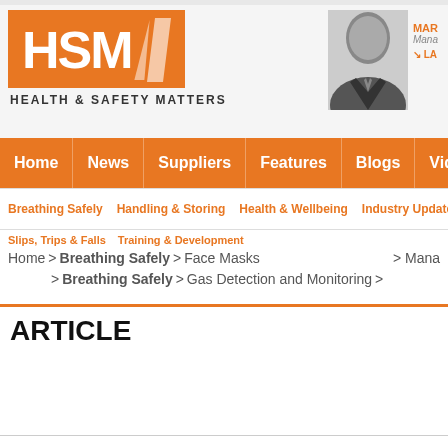[Figure (logo): HSM Health & Safety Matters logo in orange with white text, and tagline 'HEALTH & SAFETY MATTERS']
[Figure (photo): Black and white headshot photo of a man in a suit]
MAR
Mana
↘ LA
Home | News | Suppliers | Features | Blogs | Videos | Industry
Breathing Safely | Handling & Storing | Health & Wellbeing | Industry Update | Man
Slips, Trips & Falls   Training & Development
Home > Breathing Safely > Face Masks   > Mana
> Breathing Safely > Gas Detection and Monitoring >
ARTICLE